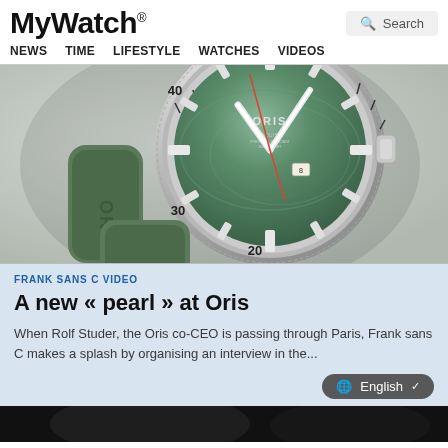MyWatch® NEWS  TIME  LIFESTYLE  WATCHES  VIDEOS
[Figure (photo): Close-up photo of an Oris Aquis diver's watch with a green mother-of-pearl dial and green rubber strap, laid on a light grey surface. The silver bezel shows markings at 40, 30, 20. The ORIS logo is visible on the dial.]
FRANK SANS C VIDEO
A new « pearl » at Oris
When Rolf Studer, the Oris co-CEO is passing through Paris, Frank sans C makes a splash by organising an interview in the...
[Figure (screenshot): Bottom partial image strip, very dark/black, partially visible at the bottom of the page.]